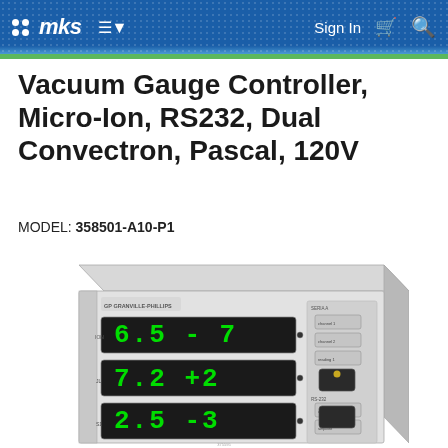mks | Sign In
Vacuum Gauge Controller, Micro-Ion, RS232, Dual Convectron, Pascal, 120V
MODEL: 358501-A10-P1
[Figure (photo): Photo of a Granville-Phillips vacuum gauge controller rack unit with three green LED digital displays showing '6.5 -7', '7.2 +2', and '2.5 -3', multiple buttons and switches on the front panel.]